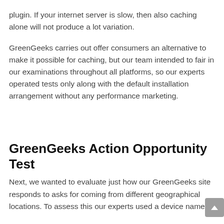plugin. If your internet server is slow, then also caching alone will not produce a lot variation.
GreenGeeks carries out offer consumers an alternative to make it possible for caching, but our team intended to fair in our examinations throughout all platforms, so our experts operated tests only along with the default installation arrangement without any performance marketing.
GreenGeeks Action Opportunity Test
Next, we wanted to evaluate just how our GreenGeeks site responds to asks for coming from different geographical locations. To assess this our experts used a device named